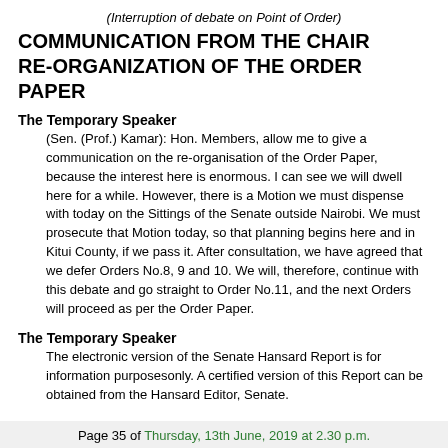(Interruption of debate on Point of Order)
COMMUNICATION FROM THE CHAIR RE-ORGANIZATION OF THE ORDER PAPER
The Temporary Speaker
(Sen. (Prof.) Kamar): Hon. Members, allow me to give a communication on the re-organisation of the Order Paper, because the interest here is enormous. I can see we will dwell here for a while. However, there is a Motion we must dispense with today on the Sittings of the Senate outside Nairobi. We must prosecute that Motion today, so that planning begins here and in Kitui County, if we pass it. After consultation, we have agreed that we defer Orders No.8, 9 and 10. We will, therefore, continue with this debate and go straight to Order No.11, and the next Orders will proceed as per the Order Paper.
The Temporary Speaker
The electronic version of the Senate Hansard Report is for information purposesonly. A certified version of this Report can be obtained from the Hansard Editor, Senate.
Page 35 of Thursday, 13th June, 2019 at 2.30 p.m.